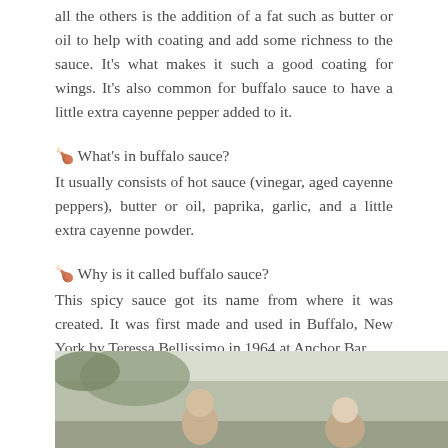all the others is the addition of a fat such as butter or oil to help with coating and add some richness to the sauce. It's what makes it such a good coating for wings. It's also common for buffalo sauce to have a little extra cayenne pepper added to it.
🍗 What's in buffalo sauce?
It usually consists of hot sauce (vinegar, aged cayenne peppers), butter or oil, paprika, garlic, and a little extra cayenne powder.
🍗 Why is it called buffalo sauce?
This spicy sauce got its name from where it was created. It was first made and used in Buffalo, New York by Teressa Bellissimo in 1964 at Anchor Bar.
[Figure (photo): A group photo of people outdoors, partially visible at the bottom of the page]